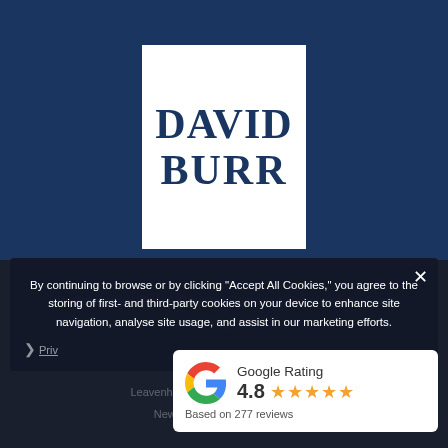[Figure (logo): David Burr logo: white box with dark blue serif text reading DAVID BURR, surrounded by dark blue border, on dark blue background]
By continuing to browse or by clicking “Accept All Cookies,” you agree to the storing of first- and third-party cookies on your device to enhance site navigation, analyse site usage, and assist in our marketing efforts.
[Figure (infographic): Google Rating card showing 4.8 stars with 5 orange stars and text 'Based on 277 reviews', Google G logo on left]
Professional Villas & Country Homes of Specialists in East Anglia
Bury St Edmunds
Leavenheath   Linton &                               ord
Newm                                                 ing